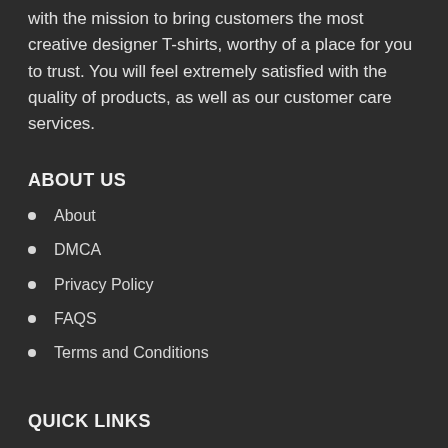with the mission to bring customers the most creative designer T-shirts, worthy of a place for you to trust. You will feel extremely satisfied with the quality of products, as well as our customer care services.
ABOUT US
About
DMCA
Privacy Policy
FAQS
Terms and Conditions
QUICK LINKS